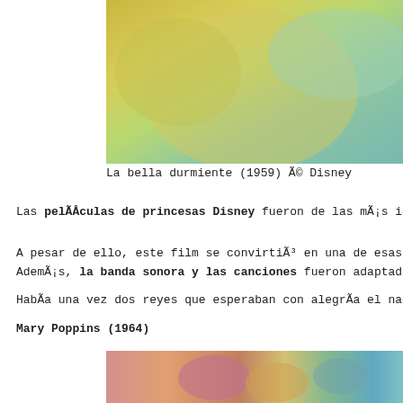[Figure (photo): Close-up image from La bella durmiente (Sleeping Beauty) showing colorful background with yellow and teal tones]
La bella durmiente (1959) © Disney
Las películas de princesas Disney fueron de las más icó...
A pesar de ello, este film se convirtió en una de esas p... Además, la banda sonora y las canciones fueron adaptadas...
Había una vez dos reyes que esperaban con alegría el naci...
Mary Poppins (1964)
[Figure (photo): Scene from Mary Poppins showing animated/live action characters in colorful outdoor setting]